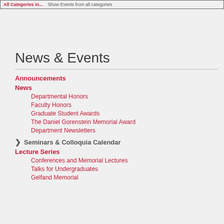All Categories in... Show Events from all categories
News & Events
Announcements
News
Departmental Honors
Faculty Honors
Graduate Student Awards
The Daniel Gorenstein Memorial Award
Department Newsletters
Seminars & Colloquia Calendar
Lecture Series
Conferences and Memorial Lectures
Talks for Undergraduates
Gelfand Memorial